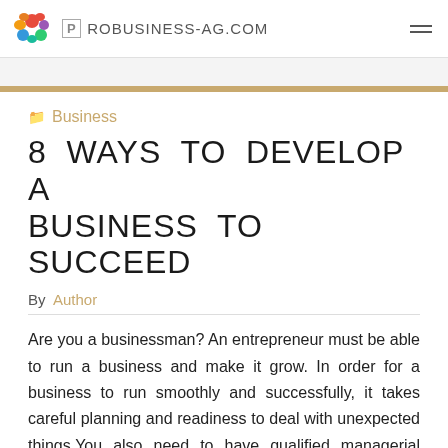ROBUSINESS-AG.COM
Business
8 WAYS TO DEVELOP A BUSINESS TO SUCCEED
By Author
Are you a businessman? An entrepreneur must be able to run a business and make it grow. In order for a business to run smoothly and successfully, it takes careful planning and readiness to deal with unexpected things.You also need to have qualified managerial skills. Here are 8 steps you can take to grow your business: